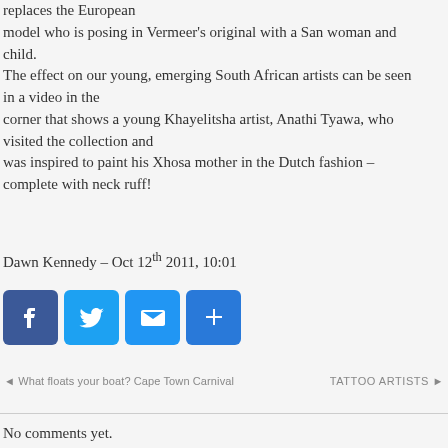replaces the European model who is posing in Vermeer's original with a San woman and child. The effect on our young, emerging South African artists can be seen in a video in the corner that shows a young Khayelitsha artist, Anathi Tyawa, who visited the collection and was inspired to paint his Xhosa mother in the Dutch fashion – complete with neck ruff!
Dawn Kennedy – Oct 12th 2011, 10:01
[Figure (other): Social sharing buttons: Facebook (blue), Twitter (light blue), Email (blue), Share/Plus (blue)]
◄ What floats your boat? Cape Town Carnival    TATTOO ARTISTS ►
No comments yet.